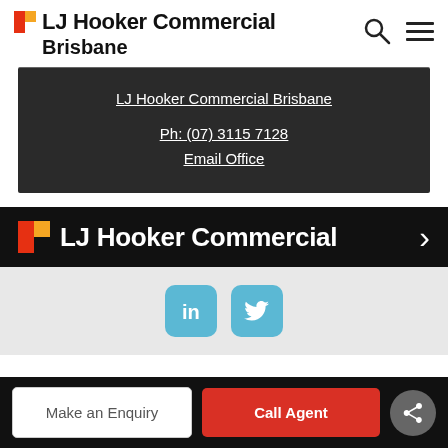LJ Hooker Commercial Brisbane
LJ Hooker Commercial Brisbane
Ph: (07) 3115 7128
Email Office
[Figure (logo): LJ Hooker Commercial logo banner with yellow/red squares and white text on black background with right arrow]
[Figure (infographic): Social media icons bar with LinkedIn and Twitter buttons on grey background]
Make an Enquiry | Call Agent